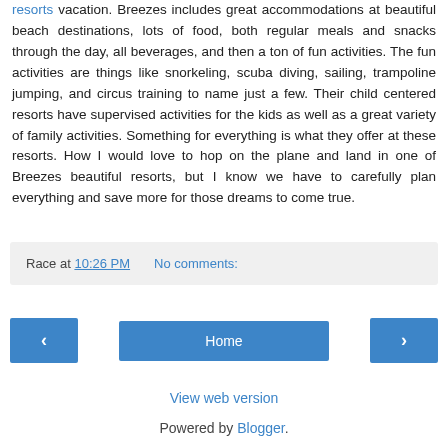resorts vacation. Breezes includes great accommodations at beautiful beach destinations, lots of food, both regular meals and snacks through the day, all beverages, and then a ton of fun activities. The fun activities are things like snorkeling, scuba diving, sailing, trampoline jumping, and circus training to name just a few. Their child centered resorts have supervised activities for the kids as well as a great variety of family activities. Something for everything is what they offer at these resorts. How I would love to hop on the plane and land in one of Breezes beautiful resorts, but I know we have to carefully plan everything and save more for those dreams to come true.
Race at 10:26 PM   No comments:
◄   Home   ►
View web version
Powered by Blogger.